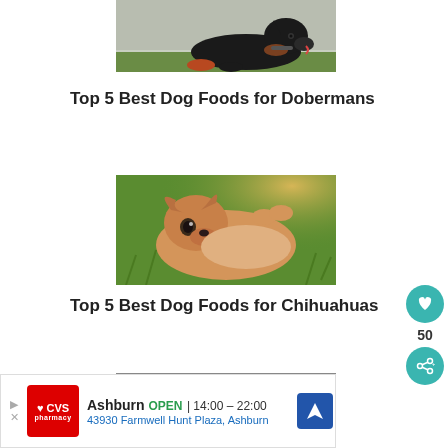[Figure (photo): A black Doberman dog lying on grass, looking sideways]
Top 5 Best Dog Foods for Dobermans
[Figure (photo): A small golden/tan Chihuahua lying upside down on grass]
Top 5 Best Dog Foods for Chihuahuas
[Figure (photo): Partial view of another dog photo, cut off at bottom of page]
[Figure (other): Social sharing sidebar with heart icon (50 likes) and share button]
Ashburn OPEN | 14:00 – 22:00
43930 Farmwell Hunt Plaza, Ashburn